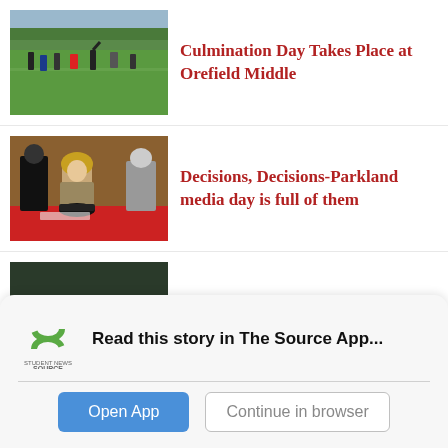[Figure (photo): Outdoor sports field with students participating in an activity, green trees in background]
Culmination Day Takes Place at Orefield Middle
[Figure (photo): Young woman smiling at a signing table with a black cap, two people standing behind her]
Decisions, Decisions-Parkland media day is full of them
[Figure (photo): Group of athletes in white uniforms on a sports track at night, holding trophies]
Spring Sports Senior Night Recap: One Last Run
Read this story in The Source App...
Open App
Continue in browser